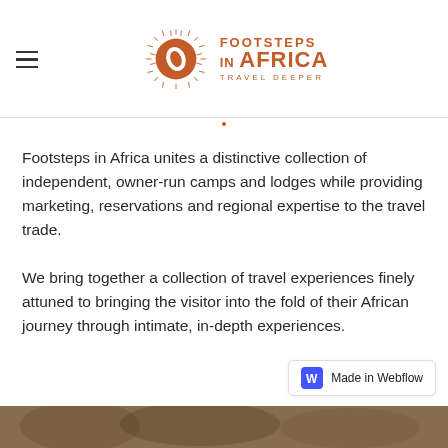Footsteps in Africa — Travel Deeper (logo)
Footsteps in Africa unites a distinctive collection of independent, owner-run camps and lodges while providing marketing, reservations and regional expertise to the travel trade.
We bring together a collection of travel experiences finely attuned to bringing the visitor into the fold of their African journey through intimate, in-depth experiences.
[Figure (logo): Made in Webflow badge with blue W icon]
[Figure (photo): Bottom strip showing a nature/wildlife photo]